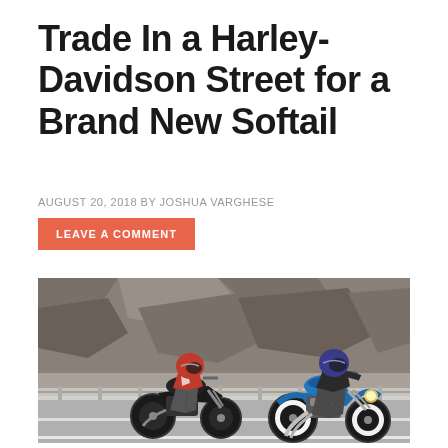Trade In a Harley-Davidson Street for a Brand New Softail
AUGUST 20, 2018 BY JOSHUA VARGHESE
LEAVE A COMMENT
[Figure (photo): Two riders on Harley-Davidson motorcycles riding on a highway, one on a black Street motorcycle (left, rider in red and white jacket with red helmet) and one on a blue Softail motorcycle (right, rider in dark jacket with blue helmet), with a rocky hillside in the background.]